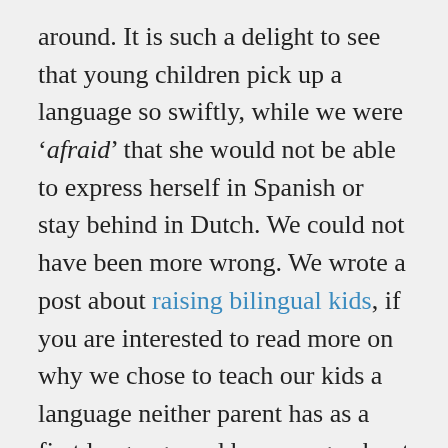around. It is such a delight to see that young children pick up a language so swiftly, while we were 'afraid' that she would not be able to express herself in Spanish or stay behind in Dutch. We could not have been more wrong. We wrote a post about raising bilingual kids, if you are interested to read more on why we chose to teach our kids a language neither parent has as a first language and how we go about that. On our way to Las Semillas to say goodbye, we came across this huge lizard crossing the road! Breathtaking and for us such a treasure to be able to show it to our kids as long these ancient creatures are still here: this is why we are here,